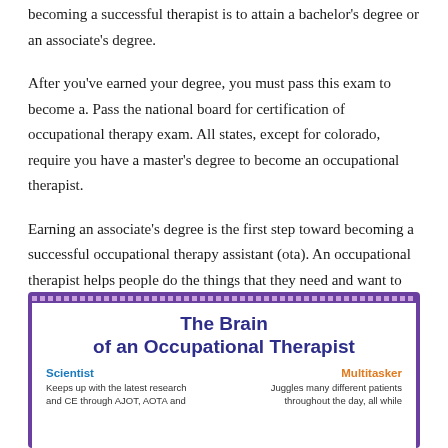becoming a successful therapist is to attain a bachelor's degree or an associate's degree.
After you've earned your degree, you must pass this exam to become a. Pass the national board for certification of occupational therapy exam. All states, except for colorado, require you have a master's degree to become an occupational therapist.
Earning an associate's degree is the first step toward becoming a successful occupational therapy assistant (ota). An occupational therapist helps people do the things that they need and want to do on a daily basis, and that can look like anything from brushing your teeth to using the bathroom to cooking to.
[Figure (infographic): Infographic titled 'The Brain of an Occupational Therapist' with a purple border and white interior. Shows two columns: 'Scientist' (blue heading) on the left — 'Keeps up with the latest research and CE through AJOT, AOTA and' — and 'Multitasker' (orange heading) on the right — 'Juggles many different patients throughout the day, all while'.]